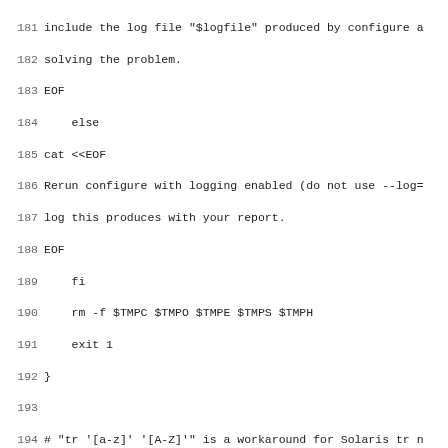Code listing lines 181-212, shell script source code
181  include the log file "$logfile" produced by configure a
182  solving the problem.
183  EOF
184      else
185  cat <<EOF
186  Rerun configure with logging enabled (do not use --log=
187  log this produces with your report.
188  EOF
189      fi
190      rm -f $TMPC $TMPO $TMPE $TMPS $TMPH
191      exit 1
192  }
193
194  # "tr '[a-z]' '[A-Z]'" is a workaround for Solaris tr n
195  toupper(){
196      echo "$@" | tr '[a-z]' '[A-Z]'
197  }
198
199  set_all(){
200      value=$1
201      shift
202      for var in $*; do
203          eval $var=$value
204      done
205  }
206
207  enable(){
208      set_all yes $*
209  }
210
211  disable(){
212      set_all no $*
213  }